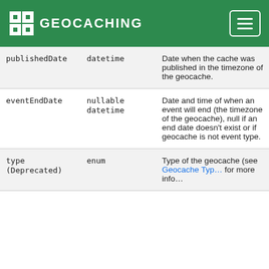GEOCACHING
| Field | Type | Description |
| --- | --- | --- |
| publishedDate | datetime | Date when the cache was published in the timezone of the geocache. |
| eventEndDate | nullable datetime | Date and time of when an event will end (the timezone of the geocache), null if an end date doesn't exist or if geocache is not event type. |
| type (Deprecated) | enum | Type of the geocache (see Geocache Type for more info... |